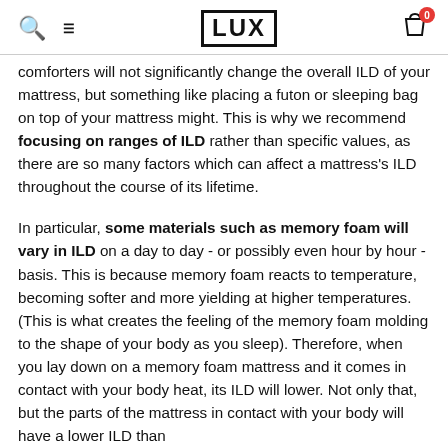LUX
comforters will not significantly change the overall ILD of your mattress, but something like placing a futon or sleeping bag on top of your mattress might. This is why we recommend focusing on ranges of ILD rather than specific values, as there are so many factors which can affect a mattress's ILD throughout the course of its lifetime.
In particular, some materials such as memory foam will vary in ILD on a day to day - or possibly even hour by hour - basis. This is because memory foam reacts to temperature, becoming softer and more yielding at higher temperatures. (This is what creates the feeling of the memory foam molding to the shape of your body as you sleep). Therefore, when you lay down on a memory foam mattress and it comes in contact with your body heat, its ILD will lower. Not only that, but the parts of the mattress in contact with your body will have a lower ILD than